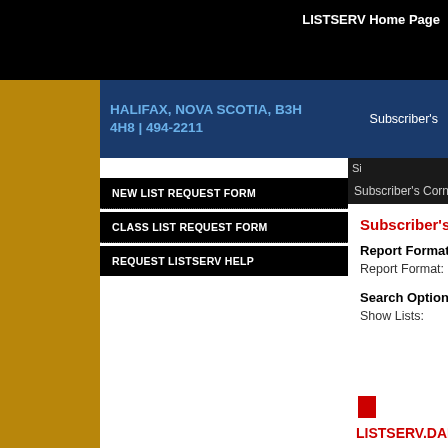LISTSERV Home Page
HALIFAX, NOVA SCOTIA, B3H 4H8 | 494-2211
Subscriber's
NEW LIST REQUEST FORM
CLASS LIST REQUEST FORM
REQUEST LISTSERV HELP
Subscriber's Corner
Email
Subscriber's Cor
Report Format
Report Format:
Search Options
Show Lists:
LISTSERV.DAL.C